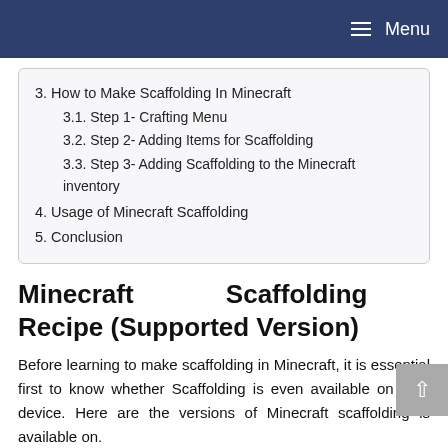Menu
3. How to Make Scaffolding In Minecraft
3.1. Step 1- Crafting Menu
3.2. Step 2- Adding Items for Scaffolding
3.3. Step 3- Adding Scaffolding to the Minecraft inventory
4. Usage of Minecraft Scaffolding
5. Conclusion
Minecraft Scaffolding Recipe (Supported Version)
Before learning to make scaffolding in Minecraft, it is essential first to know whether Scaffolding is even available on your device. Here are the versions of Minecraft scaffolding is available on.